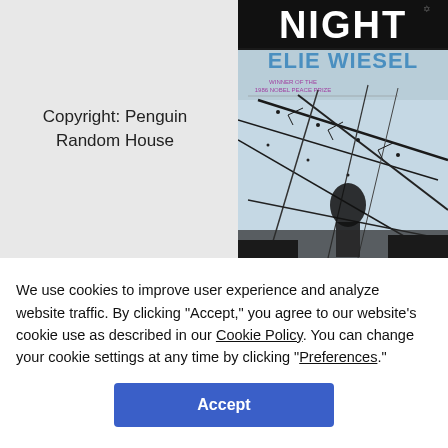Copyright: Penguin Random House
[Figure (photo): Book cover of 'Night' by Elie Wiesel, showing the title in white text, author name in blue, a silhouette of a person behind barbed wire, with text 'Winner of the 1986 Nobel Peace Prize', 'With a new preface by Robert McAfee Brown', 'A slim volume of terrifying power - The New York Times']
We use cookies to improve user experience and analyze website traffic. By clicking "Accept," you agree to our website's cookie use as described in our Cookie Policy. You can change your cookie settings at any time by clicking "Preferences."
Accept